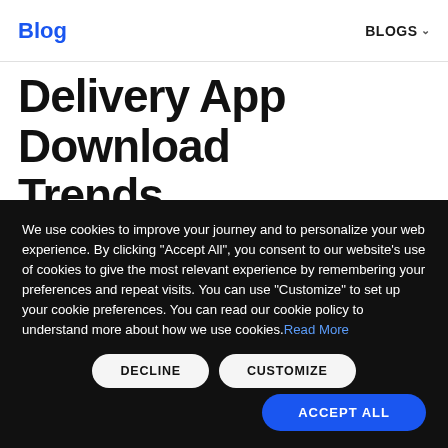Blog | BLOGS
Delivery App Download Trends
We use cookies to improve your journey and to personalize your web experience. By clicking “Accept All”, you consent to our website’s use of cookies to give the most relevant experience by remembering your preferences and repeat visits. You can use “Customize” to set up your cookie preferences. You can read our cookie policy to understand more about how we use cookies. Read More
DECLINE
CUSTOMIZE
ACCEPT ALL